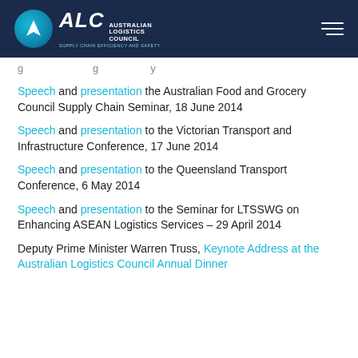[Figure (logo): Australian Logistics Council (ALC) logo with dark navy header bar and hamburger menu icon]
[partial line — continuation from previous page]
Speech and presentation the Australian Food and Grocery Council Supply Chain Seminar, 18 June 2014
Speech and presentation to the Victorian Transport and Infrastructure Conference, 17 June 2014
Speech and presentation to the Queensland Transport Conference, 6 May 2014
Speech and presentation to the Seminar for LTSSWG on Enhancing ASEAN Logistics Services – 29 April 2014
Deputy Prime Minister Warren Truss, Keynote Address at the Australian Logistics Council Annual Dinner